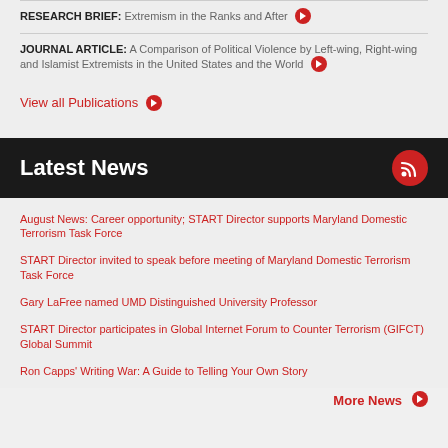RESEARCH BRIEF: Extremism in the Ranks and After
JOURNAL ARTICLE: A Comparison of Political Violence by Left-wing, Right-wing and Islamist Extremists in the United States and the World
View all Publications
Latest News
August News: Career opportunity; START Director supports Maryland Domestic Terrorism Task Force
START Director invited to speak before meeting of Maryland Domestic Terrorism Task Force
Gary LaFree named UMD Distinguished University Professor
START Director participates in Global Internet Forum to Counter Terrorism (GIFCT) Global Summit
Ron Capps' Writing War: A Guide to Telling Your Own Story
More News